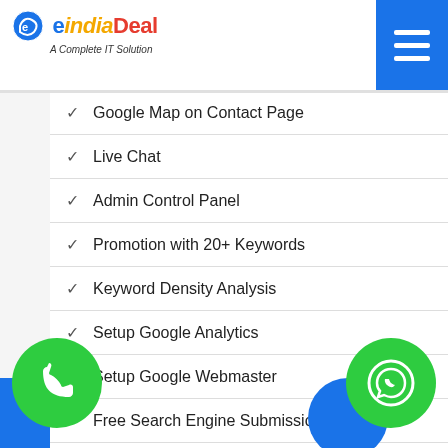eIndiaDeal - A Complete IT Solution
✓ Google Map on Contact Page
✓ Live Chat
✓ Admin Control Panel
✓ Promotion with 20+ Keywords
✓ Keyword Density Analysis
✓ Setup Google Analytics
✓ Setup Google Webmaster
✓ Free Search Engine Submission
✓ Local Google Business Listing